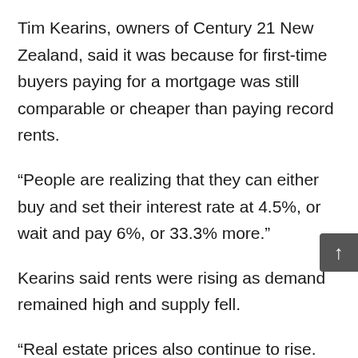Tim Kearins, owners of Century 21 New Zealand, said it was because for first-time buyers paying for a mortgage was still comparable or cheaper than paying record rents.
“People are realizing that they can either buy and set their interest rate at 4.5%, or wait and pay 6%, or 33.3% more.”
Kearins said rents were rising as demand remained high and supply fell.
“Real estate prices also continue to rise. However, at least now we are seeing many more townhouses coming onto the market, providing first-time homebuyers with a relatively affordable entry point. ”